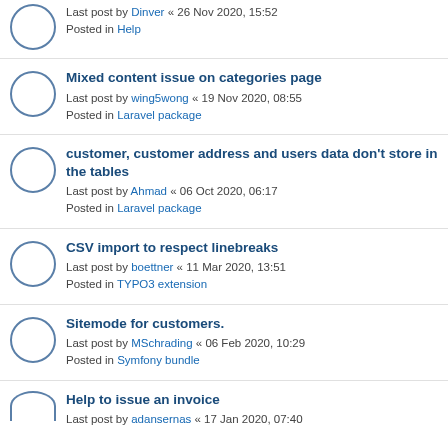Last post by Dinver « 26 Nov 2020, 15:52
Posted in Help
Mixed content issue on categories page
Last post by wing5wong « 19 Nov 2020, 08:55
Posted in Laravel package
customer, customer address and users data don't store in the tables
Last post by Ahmad « 06 Oct 2020, 06:17
Posted in Laravel package
CSV import to respect linebreaks
Last post by boettner « 11 Mar 2020, 13:51
Posted in TYPO3 extension
Sitemode for customers.
Last post by MSchrading « 06 Feb 2020, 10:29
Posted in Symfony bundle
Help to issue an invoice
Last post by adansernas « 17 Jan 2020, 07:40